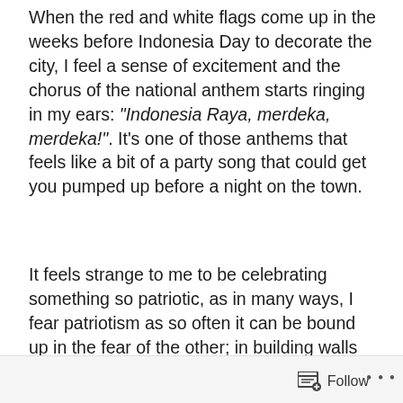When the red and white flags come up in the weeks before Indonesia Day to decorate the city, I feel a sense of excitement and the chorus of the national anthem starts ringing in my ears: “Indonesia Raya, merdeka, merdeka!”. It’s one of those anthems that feels like a bit of a party song that could get you pumped up before a night on the town.
It feels strange to me to be celebrating something so patriotic, as in many ways, I fear patriotism as so often it can be bound up in the fear of the other; in building walls both literal and metaphorical, in deciding who does and doesn’t belong and how you can treat them once this decision has been made.
Follow